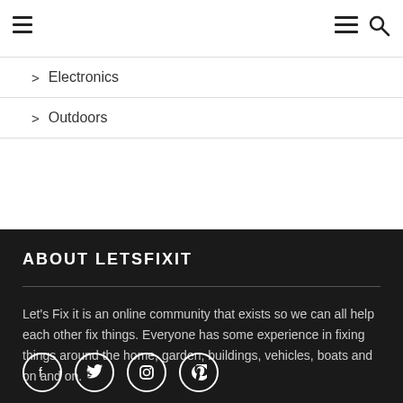> Electronics
> Outdoors
ABOUT LETSFIXIT
Let's Fix it is an online community that exists so we can all help each other fix things. Everyone has some experience in fixing things around the home, garden, buildings, vehicles, boats and on and on.
[Figure (illustration): Social media icons: Facebook, Twitter, Instagram, Pinterest in circular outlines on dark background]